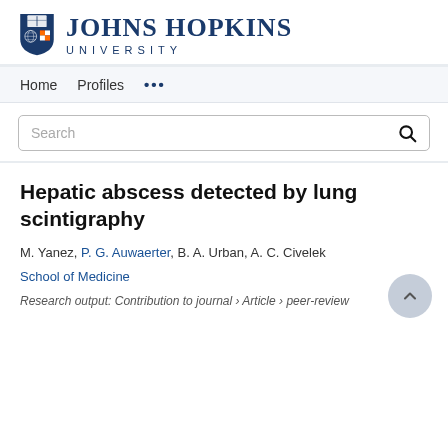[Figure (logo): Johns Hopkins University logo with shield and text]
Home   Profiles   ...
Search
Hepatic abscess detected by lung scintigraphy
M. Yanez, P. G. Auwaerter, B. A. Urban, A. C. Civelek
School of Medicine
Research output: Contribution to journal › Article › peer-review